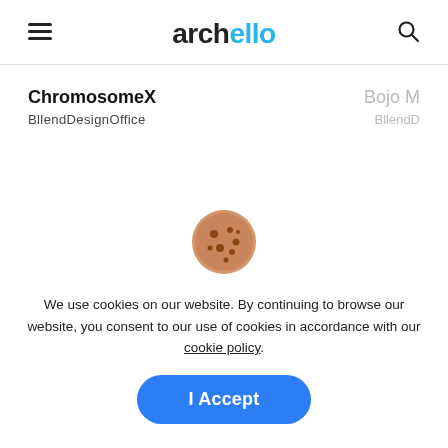archello
ChromosomeX
BllendDesignOffice
Bojo M
BllendD
[Figure (other): Carousel dot navigation: one active blue dot and one inactive grey dot]
[Figure (illustration): Cookie emoji icon — a round brown cookie with chocolate chip spots]
We use cookies on our website. By continuing to browse our website, you consent to our use of cookies in accordance with our cookie policy.
I Accept